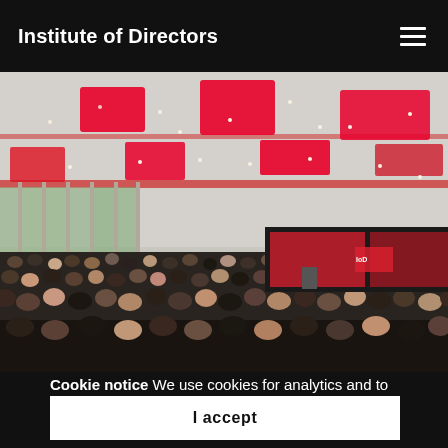Institute of Directors
[Figure (photo): Large conference hall filled with hundreds of attendees viewed from the back. The ceiling features recessed red illuminated square panels and dotted lighting. Tall windows along the left wall let in daylight. At the far end, a stage with a dark backdrop and red-lit screen is visible, with a speaker at the podium.]
Cookie notice We use cookies for analytics and to personalise your experience. See our cookie policy for details.
I accept